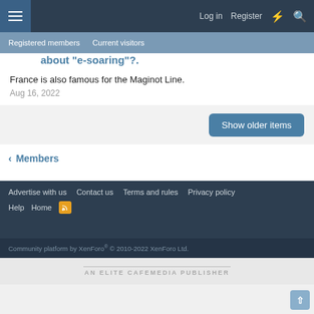Log in | Register
Registered members | Current visitors
about "e-soaring"?.
France is also famous for the Maginot Line.
Aug 16, 2022
Show older items
Members
Advertise with us  Contact us  Terms and rules  Privacy policy  Help  Home
Community platform by XenForo® © 2010-2022 XenForo Ltd.
AN ELITE CAFEMEDIA PUBLISHER